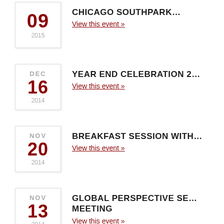09 2015 CHICAGO SOUTHPARK... View this event »
DEC 16 2014 YEAR END CELEBRATION 2... View this event »
NOV 20 2014 BREAKFAST SESSION WITH... View this event »
NOV 13 2014 GLOBAL PERSPECTIVE SE... MEETING View this event »
NOV 05 2014 INVITATION TO THE 2ND C... JAPAN View this event »